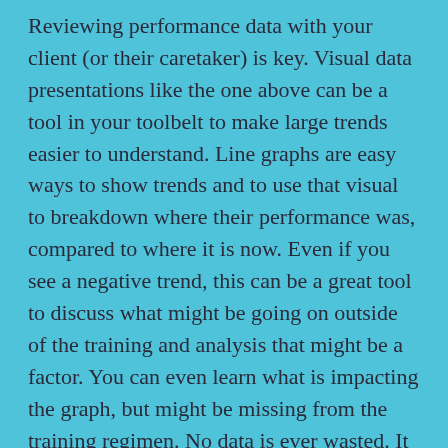Reviewing performance data with your client (or their caretaker) is key. Visual data presentations like the one above can be a tool in your toolbelt to make large trends easier to understand. Line graphs are easy ways to show trends and to use that visual to breakdown where their performance was, compared to where it is now. Even if you see a negative trend, this can be a great tool to discuss what might be going on outside of the training and analysis that might be a factor. You can even learn what is impacting the graph, but might be missing from the training regimen. No data is ever wasted. It is all a resource.
Behavior Coding: